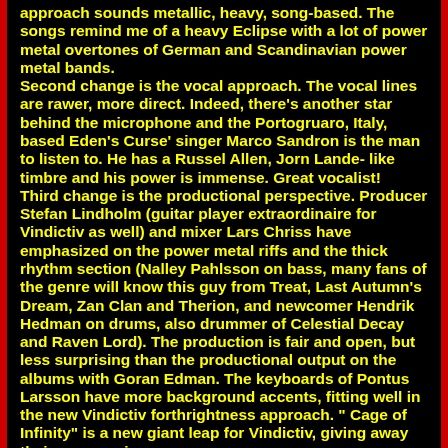approach sounds metallic, heavy, song-based. The songs remind me of a heavy Eclipse with a lot of power metal overtones of German and Scandinavian power metal bands. Second change is the vocal approach. The vocal lines are rawer, more direct. Indeed, there's another star behind the microphone and the Portogruaro, Italy, based Eden's Curse' singer Marco Sandron is the man to listen to. He has a Russel Allen, Jorn Lande- like timbre and his power is immense. Great vocalist! Third change is the productional perspective. Producer Stefan Lindholm (guitar player extraordinaire for Vindictiv as well) and mixer Lars Chriss have emphasized on the power metal riffs and the thick rhythm section (Nalley Pahlsson on bass, many fans of the genre will know this guy from Treat, Last Autumn's Dream, Zan Clan and Therion, and newcomer Hendrik Hedman on drums, also drummer of Celestial Decay and Raven Lord). The production is fair and open, but less surprising than the productional output on the albums with Goran Edman. The keyboards of Pontus Larsson have more background accents, fitting well in the new Vindictiv forthrightness approach. " Cage of Infinity" is a new giant leap for Vindictiv, giving away their progressive